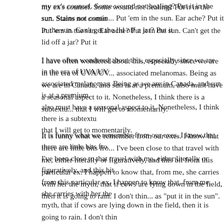my ex's counsel. Some wound not healing? Put it in the sun. Stains not coming out? Put 'em in the sun. Ear ache? Put it in the sun. Can't get the lid off a jar? Put it in the sun.
I have often wondered about this, especially since we are in the era of UVA/UVB associated melanomas. Being as we are in Canada, and sun is at a premium, it also must have a seasonal aspect to it. Nonetheless, I think there is a subtext to it that I will get to momentarily.
It is funny what we remember from our exes. I know that there are little bits from all I've been close to that travel with me, either literally or figuratively, and this bit is from this particular ex. I happen to know that, from me, she carries with her the myth, that if cows are lying down in the field, then it is going to rain. I don't think as "put it in the sun".
I awoke this morning a bit out of sorts. It was non-specific, one of those moods I cannot say "because of x, I now feel y". But I felt vaguely disappointed and dis... not moving fast enough, feeling like I haven't done enough, situations not unfolding the speed or outcomes that I'd hoped for, or planned for.
Following both my Sunday morning proclivities, and my ex's advice, I put it in the sun. Made coffee, bought a newspaper, took my dog to our favourite park, and sat sipping excellent java while poking through the paper. My dog snuffled through leaves and friends, and also sat blinking in the sun. Maybe she needed re-charging, too.